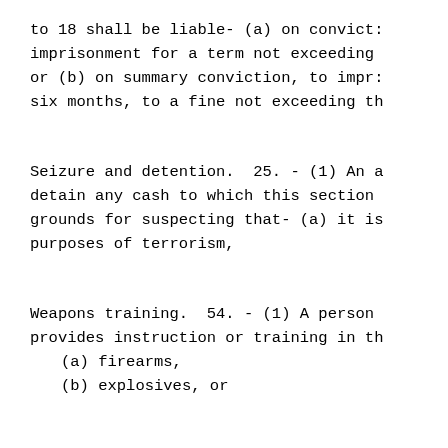to 18 shall be liable- (a) on convict: imprisonment for a term not exceeding or (b) on summary conviction, to impr: six months, to a fine not exceeding th
Seizure and detention.  25. - (1) An a detain any cash to which this section grounds for suspecting that- (a) it is purposes of terrorism,
Weapons training.  54. - (1) A person provides instruction or training in th
(a) firearms,
(b) explosives, or